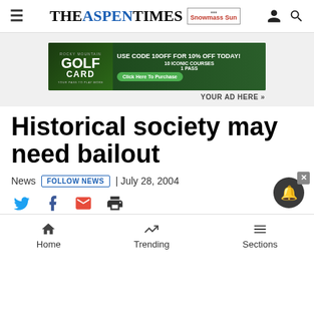THE ASPEN TIMES | Snowmass Sun
[Figure (other): Golf Card advertisement banner: Rocky Mountain Golf Card - USE CODE 10OFF FOR 10% OFF TODAY! 10 ICONIC COURSES 1 PASS - Click Here To Purchase]
YOUR AD HERE »
Historical society may need bailout
News  FOLLOW NEWS  | July 28, 2004
Janet Urquhart
Home | Trending | Sections